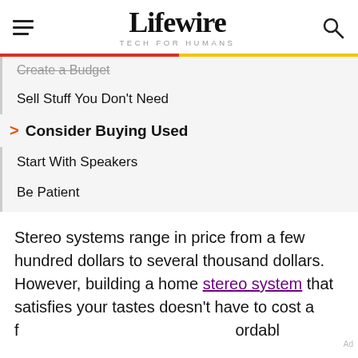Lifewire — TECH FOR HUMANS
Create a Budget
Sell Stuff You Don't Need
Consider Buying Used
Start With Speakers
Be Patient
Stereo systems range in price from a few hundred dollars to several thousand dollars. However, building a home stereo system that satisfies your tastes doesn't have to cost a fortune. Quality systems are affordable...